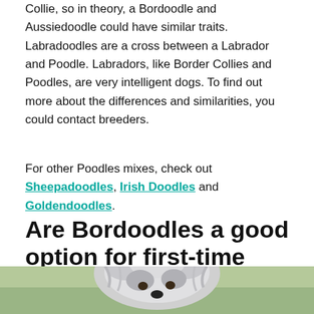Collie, so in theory, a Bordoodle and Aussiedoodle could have similar traits. Labradoodles are a cross between a Labrador and Poodle. Labradors, like Border Collies and Poodles, are very intelligent dogs. To find out more about the differences and similarities, you could contact breeders.
For other Poodles mixes, check out Sheepadoodles, Irish Doodles and Goldendoodles.
Are Bordoodles a good option for first-time owners?
[Figure (photo): Bottom portion of a dog photo, showing a fluffy grey and white dog outdoors with green background]